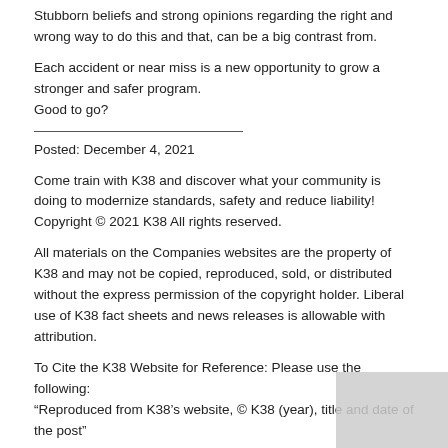Stubborn beliefs and strong opinions regarding the right and wrong way to do this and that, can be a big contrast from.
Each accident or near miss is a new opportunity to grow a stronger and safer program.
Good to go?
Posted: December 4, 2021
Come train with K38 and discover what your community is doing to modernize standards, safety and reduce liability!
Copyright © 2021 K38 All rights reserved.
All materials on the Companies websites are the property of K38 and may not be copied, reproduced, sold, or distributed without the express permission of the copyright holder. Liberal use of K38 fact sheets and news releases is allowable with attribution.
To Cite the K38 Website for Reference: Please use the following: "Reproduced from K38's website, © K38 (year), title and date of the post"